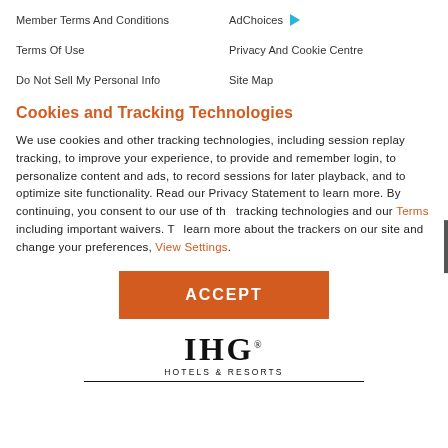Member Terms And Conditions
AdChoices
Terms Of Use
Privacy And Cookie Centre
Do Not Sell My Personal Info
Site Map
Cookies and Tracking Technologies
We use cookies and other tracking technologies, including session replay tracking, to improve your experience, to provide and remember login, to personalize content and ads, to record sessions for later playback, and to optimize site functionality. Read our Privacy Statement to learn more. By continuing, you consent to our use of the tracking technologies and our Terms including important waivers. To learn more about the trackers on our site and change your preferences, View Settings.
[Figure (other): ACCEPT button in orange/red background]
[Figure (logo): IHG Hotels & Resorts logo with horizontal lines]